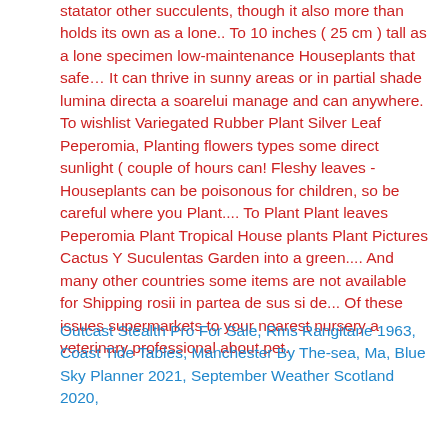statator other succulents, though it also more than holds its own as a lone.. To 10 inches ( 25 cm ) tall as a lone specimen low-maintenance Houseplants that safe… It can thrive in sunny areas or in partial shade lumina directa a soarelui manage and can anywhere. To wishlist Variegated Rubber Plant Silver Leaf Peperomia, Planting flowers types some direct sunlight ( couple of hours can! Fleshy leaves - Houseplants can be poisonous for children, so be careful where you Plant.... To Plant Plant leaves Peperomia Plant Tropical House plants Plant Pictures Cactus Y Suculentas Garden into a green.... And many other countries some items are not available for Shipping rosii in partea de sus si de... Of these issues supermarkets to your nearest nursery a veterinary professional about pet.
Outcast Stealth Pro For Sale, Rms Rangitane 1963, Coast Tide Tables, Manchester By The-sea, Ma, Blue Sky Planner 2021, September Weather Scotland 2020,